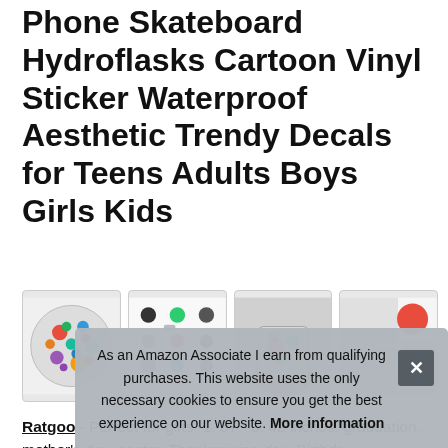Phone Skateboard Hydroflasks Cartoon Vinyl Sticker Waterproof Aesthetic Trendy Decals for Teens Adults Boys Girls Kids
[Figure (photo): Four product images showing anime/cartoon sticker packs: a collage ball of stickers, individual sticker designs, a hand holding stickers, and a product comparison chart.]
Ratgoo - Perfect for gifts -1. 57 - 3. 42 inches, graduation, mother's day, easter, Thanksgiving day, Birthday, Halloween our sale - you can stick on water bottles, snowboard, ps4, books,
As an Amazon Associate I earn from qualifying purchases. This website uses the only necessary cookies to ensure you get the best experience on our website. More information